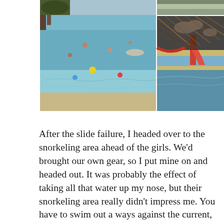[Figure (photo): Two vacation photos side by side: left shows a shallow turquoise beach/lagoon with people swimming and colorful buoys; top right shows a partial beach scene; bottom right shows a view from under a thatched roof looking out to a blue beach with water slides.]
After the slide failure, I headed over to the snorkeling area ahead of the girls. We'd brought our own gear, so I put mine on and headed out. It was probably the effect of taking all that water up my nose, but their snorkeling area really didn't impress me. You have to swim out a ways against the current, so by the time I got to an area where the water was clear, I was a bit tired. Swimming around, I did spot some fish among the relics they'd put on the bottom, along with a turtle trying to avoid